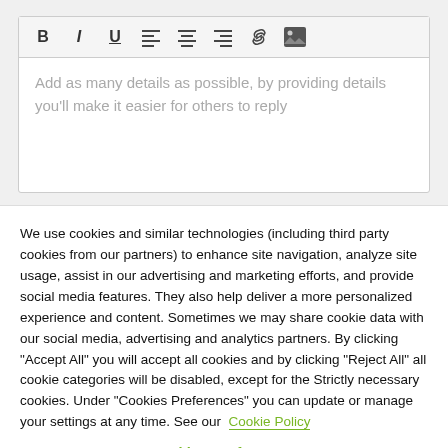[Figure (screenshot): Text editor toolbar with bold, italic, underline, align-left, align-center, align-right, link, and image buttons]
Add as many details as possible, by providing details you'll make it easier for others to reply
We use cookies and similar technologies (including third party cookies from our partners) to enhance site navigation, analyze site usage, assist in our advertising and marketing efforts, and provide social media features. They also help deliver a more personalized experience and content. Sometimes we may share cookie data with our social media, advertising and analytics partners. By clicking "Accept All" you will accept all cookies and by clicking "Reject All" all cookie categories will be disabled, except for the Strictly necessary cookies. Under "Cookies Preferences" you can update or manage your settings at any time. See our Cookie Policy
Cookies Preferences
Reject All